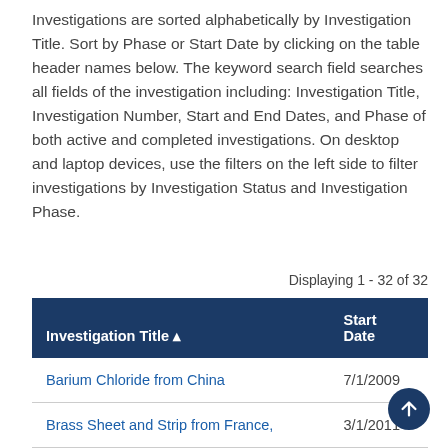Investigations are sorted alphabetically by Investigation Title. Sort by Phase or Start Date by clicking on the table header names below. The keyword search field searches all fields of the investigation including: Investigation Title, Investigation Number, Start and End Dates, and Phase of both active and completed investigations. On desktop and laptop devices, use the filters on the left side to filter investigations by Investigation Status and Investigation Phase.
Displaying 1 - 32 of 32
| Investigation Title ↑ | Start Date |
| --- | --- |
| Barium Chloride from China | 7/1/2009 |
| Brass Sheet and Strip from France, | 3/1/2011 |